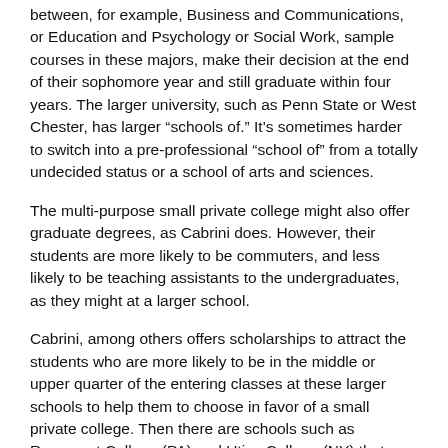between, for example, Business and Communications, or Education and Psychology or Social Work, sample courses in these majors, make their decision at the end of their sophomore year and still graduate within four years. The larger university, such as Penn State or West Chester, has larger “schools of.” It’s sometimes harder to switch into a pre-professional “school of” from a totally undecided status or a school of arts and sciences.
The multi-purpose small private college might also offer graduate degrees, as Cabrini does. However, their students are more likely to be commuters, and less likely to be teaching assistants to the undergraduates, as they might at a larger school.
Cabrini, among others offers scholarships to attract the students who are more likely to be in the middle or upper quarter of the entering classes at these larger schools to help them to choose in favor of a small private college. Then there are schools such as Rosemont College (PA) and Utica College (NY) that “reset” their sticker price for tuition to be closer to the charges set by state schools.
Who should consider a multi-purpose small private college versus a larger school?
Students who are truly undecided between majors that might be